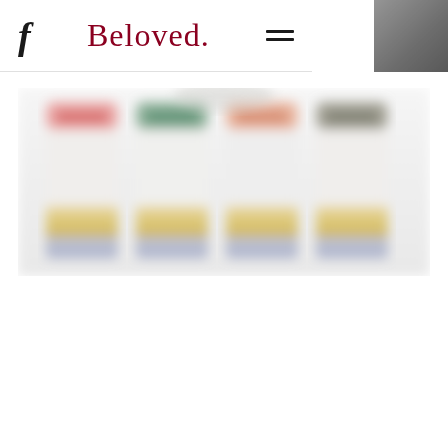f  Beloved.  ≡
[Figure (photo): Four product bottles or containers arranged in a row, blurred/out-of-focus image showing items with colorful labels on top and gold/yellow and blue/lavender colored lower sections against a white background]